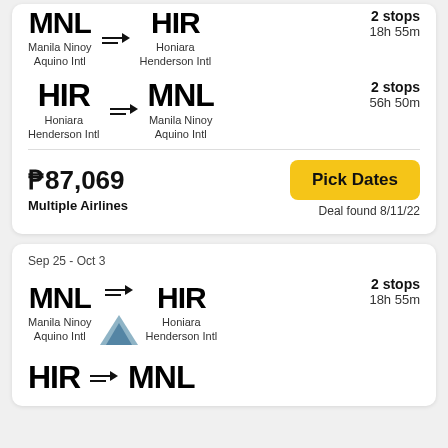[Figure (infographic): Flight route card showing MNL to HIR with 2 stops, 18h 55m]
Manila Ninoy Aquino Intl → Honiara Henderson Intl
2 stops
18h 55m
HIR → MNL
Honiara Henderson Intl → Manila Ninoy Aquino Intl
2 stops
56h 50m
₱87,069
Multiple Airlines
Pick Dates
Deal found 8/11/22
Sep 25 - Oct 3
MNL → HIR
Manila Ninoy Aquino Intl → Honiara Henderson Intl
2 stops
18h 55m
HIR → MNL